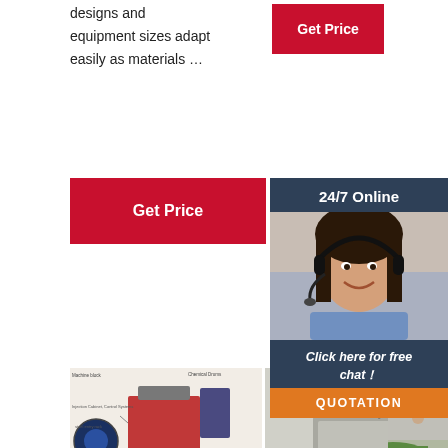designs and equipment sizes adapt easily as materials …
[Figure (other): Red 'Get Price' button (top right)]
[Figure (other): Red 'Get Price' button (left side)]
[Figure (other): 24/7 Online customer service side panel with photo of woman with headset, 'Click here for free chat!' text, and QUOTATION orange button]
[Figure (photo): Engineering/machine diagram schematic image]
[Figure (photo): Industrial machine equipment photo]
[Figure (photo): Green circular product/equipment photo]
Loctite
When and how to use epoxy glue—a common question with surprisingly simple answers. ... Insulating spray
REHAU LaserEdge
REHAU LaserEdge TM is an edgeband with a pre-applied, co-extruded polymer…
About US
Got Question? Tell Number: 855-385-1880 Email Contact support@vevor.com All emails will be